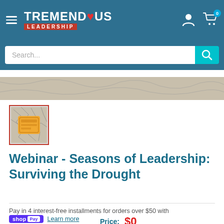Tremendous Leadership
[Figure (screenshot): Product thumbnail showing book/webinar cover with cracked earth pattern and orange label]
Webinar - Seasons of Leadership: Surviving the Drought
Pay in 4 interest-free installments for orders over $50 with
shopPay Learn more
Price: $0